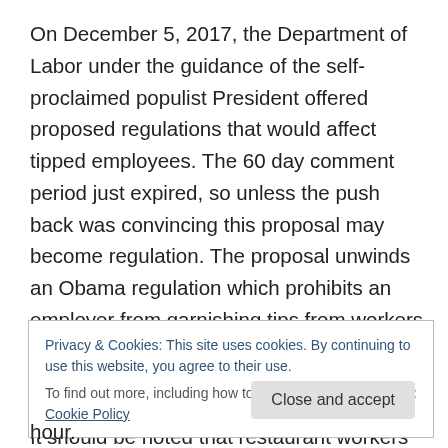On December 5, 2017, the Department of Labor under the guidance of the self-proclaimed populist President offered proposed regulations that would affect tipped employees. The 60 day comment period just expired, so unless the push back was convincing this proposal may become regulation. The proposal unwinds an Obama regulation which prohibits an employer from garnishing tips from workers who make at least the $7.25 minimum wage.
It should be noted that restaurant workers have a lesser minimum wage of only $2.13 which has been in place for
Privacy & Cookies: This site uses cookies. By continuing to use this website, you agree to their use.
To find out more, including how to control cookies, see here: Cookie Policy
hour.